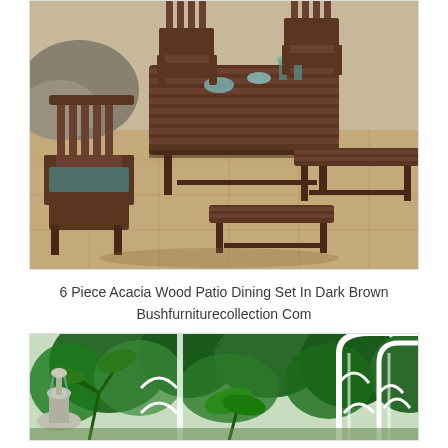[Figure (photo): Outdoor patio dining set showing dark brown acacia wood furniture: a rectangular table, several armchairs with slatted backs, and two benches, arranged on a stone-tiled patio. The table has plates and items on it.]
6 Piece Acacia Wood Patio Dining Set In Dark Brown Bushfurniturecollection Com
[Figure (photo): Outdoor garden scene with lush green tropical plants, a white decorative arch/trellis structure, trees in the background, and a stone fountain visible on the left side.]